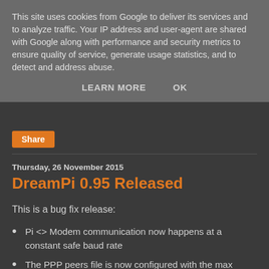This site uses cookies from Google to deliver its services and to analyze traffic. Your IP address and user-agent are shared with Google along with performance and security metrics to ensure quality of service, generate usage statistics, and to detect and address abuse.
LEARN MORE   OK
Share
Thursday, 26 November 2015
DreamPi 0.95 Released
This is a bug fix release:
Pi <> Modem communication now happens at a constant safe baud rate
The PPP peers file is now configured with the max speed of the modem, this increases performance and hopefully fixes connection